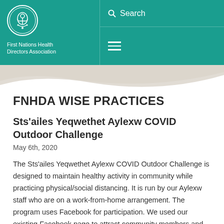[Figure (logo): First Nations Health Directors Association logo - circular emblem with traditional design in white on teal background, with organization name below]
Search
FNHDA WISE PRACTICES
Sts'ailes Yeqwethet Aylexw COVID Outdoor Challenge
May 6th, 2020
The Sts'ailes Yeqwethet Aylexw COVID Outdoor Challenge is designed to maintain healthy activity in community while practicing physical/social distancing. It is run by our Aylexw staff who are on a work-from-home arrangement. The program uses Facebook for participation. We used our existing Facebook page to attract community members and non-community members to join.